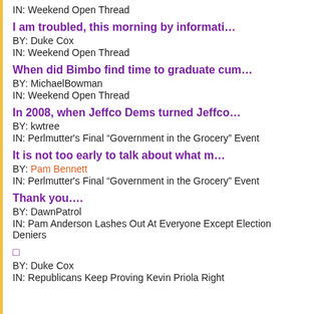IN: Weekend Open Thread
I am troubled, this morning by informati…
BY: Duke Cox
IN: Weekend Open Thread
When did Bimbo find time to graduate cum…
BY: MichaelBowman
IN: Weekend Open Thread
In 2008, when Jeffco Dems turned Jeffco…
BY: kwtree
IN: Perlmutter's Final “Government in the Grocery” Event
It is not too early to talk about what m…
BY: Pam Bennett
IN: Perlmutter's Final “Government in the Grocery” Event
Thank you….
BY: DawnPatrol
IN: Pam Anderson Lashes Out At Everyone Except Election Deniers
□
BY: Duke Cox
IN: Republicans Keep Proving Kevin Priola Right